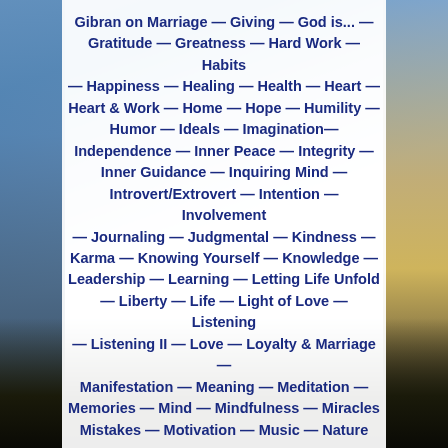Gibran on Marriage — Giving — God is... — Gratitude — Greatness — Hard Work — Habits — Happiness — Healing — Health — Heart — Heart & Work — Home — Hope — Humility — Humor — Ideals — Imagination— Independence — Inner Peace — Integrity — Inner Guidance — Inquiring Mind — Introvert/Extrovert — Intention — Involvement — Journaling — Judgmental — Kindness — Karma — Knowing Yourself — Knowledge — Leadership — Learning — Letting Life Unfold — Liberty — Life — Light of Love — Listening — Listening II — Love — Loyalty & Marriage — Manifestation — Meaning — Meditation — Memories — Mind — Mindfulness — Miracles Mistakes — Motivation — Music — Nature